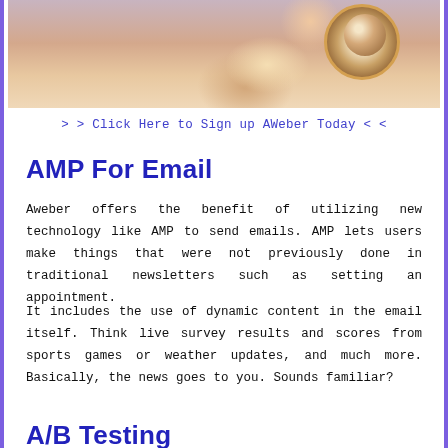[Figure (photo): Person holding a coffee cup latte art, wearing a pink top, styled lifestyle photo]
> > Click Here to Sign up AWeber Today < <
AMP For Email
Aweber offers the benefit of utilizing new technology like AMP to send emails. AMP lets users make things that were not previously done in traditional newsletters such as setting an appointment.
It includes the use of dynamic content in the email itself. Think live survey results and scores from sports games or weather updates, and much more. Basically, the news goes to you. Sounds familiar?
A/B Testing